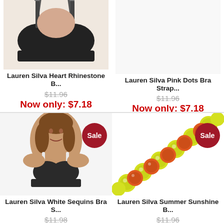[Figure (photo): Black bra on model, top portion visible, cropped at top]
Lauren Silva Heart Rhinestone B...
$11.96
Now only: $7.18
[Figure (photo): Empty product slot for Lauren Silva Pink Dots Bra Strap]
Lauren Silva Pink Dots Bra Strap...
$11.96
Now only: $7.18
[Figure (photo): Woman wearing black bra with white straps, Sale badge]
Lauren Silva White Sequins Bra S...
$11.96 (partial, cropped)
[Figure (photo): Colorful yellow and orange bead bracelet, Sale badge]
Lauren Silva Summer Sunshine B...
$11.96 (partial, cropped)